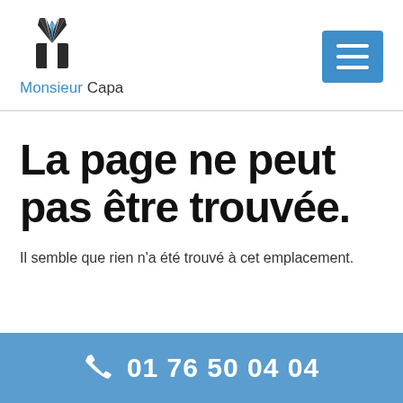[Figure (logo): Monsieur Capa logo: a tuxedo/suit icon in dark with blue tie, and text 'Monsieur Capa' below]
[Figure (other): Hamburger menu button (three horizontal white lines on blue square background)]
La page ne peut pas être trouvée.
Il semble que rien n'a été trouvé à cet emplacement.
01 76 50 04 04